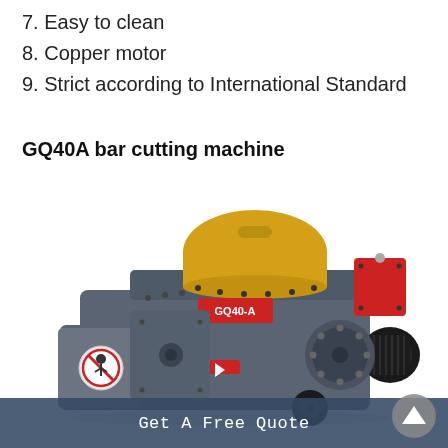7. Easy to clean
8. Copper motor
9. Strict according to International Standard
GQ40A bar cutting machine
[Figure (photo): GQ40A bar cutting machine — industrial steel bar cutter with grey cast iron body, yellow cover on top, red electrical box, black motor on right side, and a safety sticker on the left. The machine label reads GQ40-A.]
Get A Free Quote